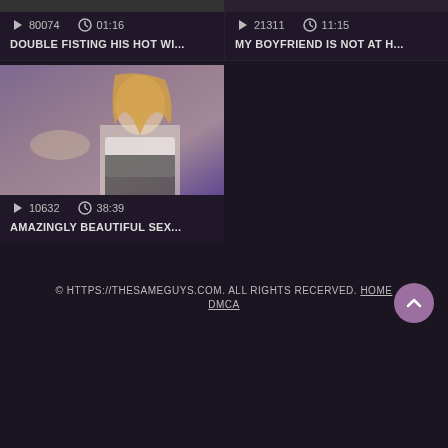[Figure (screenshot): Video thumbnail top-left, partially visible]
80074  01:16
DOUBLE FISTING HIS HOT WI...
[Figure (screenshot): Video thumbnail top-right, partially visible]
21311  11:15
MY BOYFRIEND IS NOT AT H...
[Figure (photo): Video thumbnail showing a blonde woman]
10632  38:39
AMAZINGLY BEAUTIFUL SEX...
© HTTPS://THESAMEGUYS.COM. ALL RIGHTS RECERVED. HOME DMCA